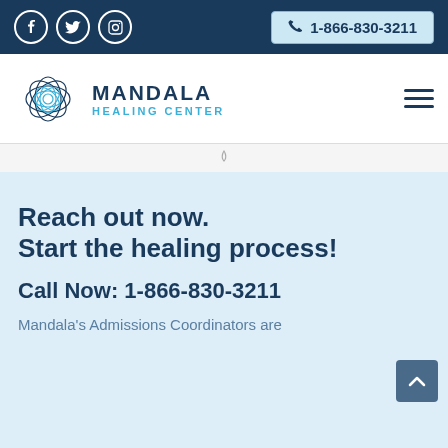1-866-830-3211
[Figure (logo): Mandala Healing Center logo with mandala flower graphic and text]
Reach out now. Start the healing process!
Call Now: 1-866-830-3211
Mandala's Admissions Coordinators are